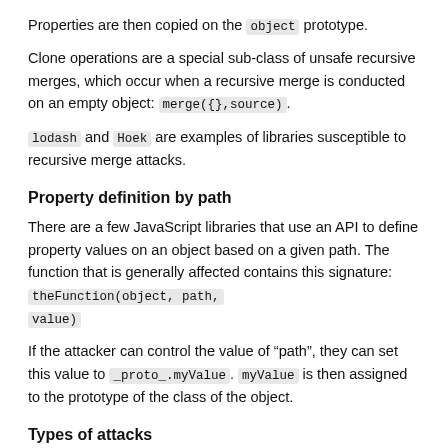Properties are then copied on the object prototype.
Clone operations are a special sub-class of unsafe recursive merges, which occur when a recursive merge is conducted on an empty object: merge({},source).
lodash and Hoek are examples of libraries susceptible to recursive merge attacks.
Property definition by path
There are a few JavaScript libraries that use an API to define property values on an object based on a given path. The function that is generally affected contains this signature: theFunction(object, path, value)
If the attacker can control the value of “path”, they can set this value to _proto_.myValue. myValue is then assigned to the prototype of the class of the object.
Types of attacks